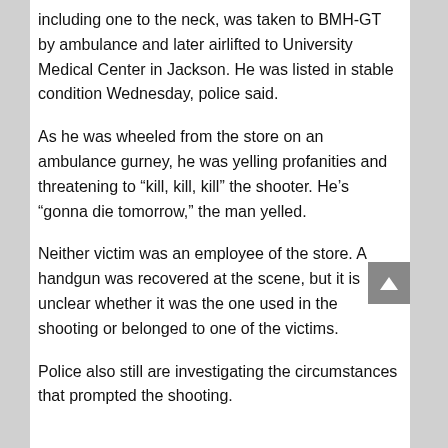including one to the neck, was taken to BMH-GT by ambulance and later airlifted to University Medical Center in Jackson. He was listed in stable condition Wednesday, police said.
As he was wheeled from the store on an ambulance gurney, he was yelling profanities and threatening to "kill, kill, kill" the shooter. He's "gonna die tomorrow," the man yelled.
Neither victim was an employee of the store. A handgun was recovered at the scene, but it is unclear whether it was the one used in the shooting or belonged to one of the victims.
Police also still are investigating the circumstances that prompted the shooting.